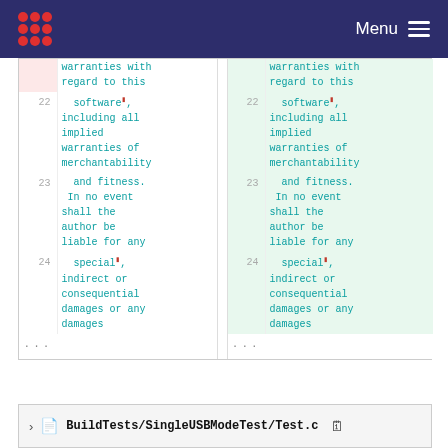Menu
| line | code-left | divider | line | code-right |
| --- | --- | --- | --- | --- |
|  | warranties with regard to this |  |  | warranties with regard to this |
| 22 | software, including all implied warranties of merchantability | 22 | software, including all implied warranties of merchantability |
| 23 | and fitness. In no event shall the author be liable for any | 23 | and fitness. In no event shall the author be liable for any |
| 24 | special, indirect or consequential damages or any damages | 24 | special, indirect or consequential damages or any damages |
| ... |  | ... |  |
BuildTests/SingleUSBModeTest/Test.c